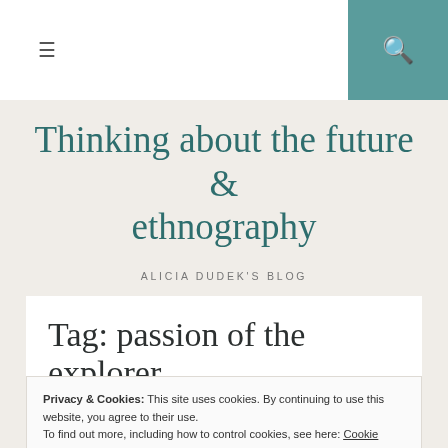≡  🔍
Thinking about the future & ethnography
ALICIA DUDEK'S BLOG
Tag: passion of the explorer
Privacy & Cookies: This site uses cookies. By continuing to use this website, you agree to their use.
To find out more, including how to control cookies, see here: Cookie Policy
Close and accept
John Hagel – Centre for the